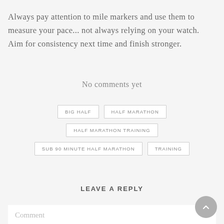Always pay attention to mile markers and use them to measure your pace... not always relying on your watch. Aim for consistency next time and finish stronger.
No comments yet
BIG HALF
HALF MARATHON
HALF MARATHON TRAINING
SUB 90 MINUTE HALF MARATHON
TRAINING
LEAVE A REPLY
Comment